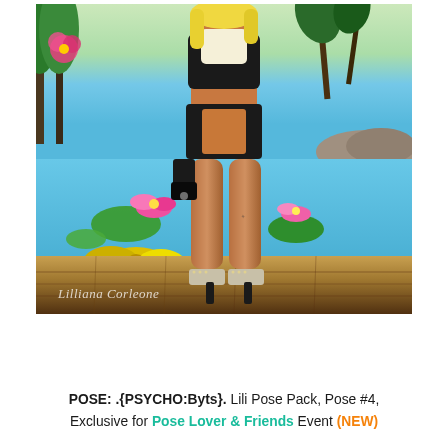[Figure (photo): Virtual world / Second Life screenshot of a female avatar with blonde hair, wearing a black and cream outfit and strappy heeled shoes, standing near a decorative pond with lily pads, pink lotus flowers, yellow flowers, and tropical trees in the background. Watermark text 'Lilliana Corleone' in lower left.]
POSE:  .{PSYCHO:Byts}. Lili Pose Pack, Pose #4, Exclusive for Pose Lover & Friends Event (NEW)